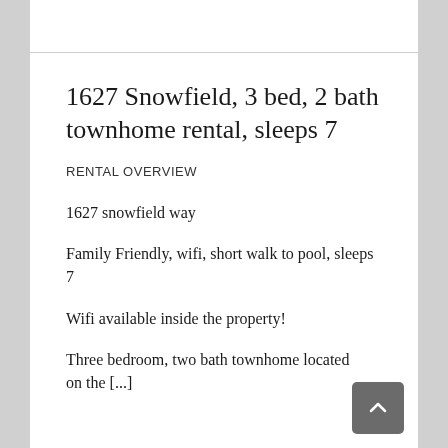1627 Snowfield, 3 bed, 2 bath townhome rental, sleeps 7
RENTAL OVERVIEW
1627 snowfield way
Family Friendly, wifi, short walk to pool, sleeps 7
Wifi available inside the property!
Three bedroom, two bath townhome located on the [...]